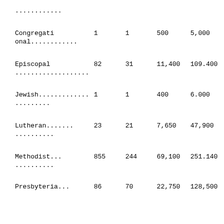| Denomination |  |  |  |  |
| --- | --- | --- | --- | --- |
| ............ |  |  |  |  |
| Congregational............ | 1 | 1 | 500 | 5,000 |
| Episcopal................ | 82 | 31 | 11,400 | 109.400 |
| Jewish................... | 1 | 1 | 400 | 6.000 |
| Lutheran................. | 23 | 21 | 7,650 | 47,900 |
| Methodist................ | 855 | 244 | 69,100 | 251.140 |
| Presbyteria... | 86 | 70 | 22,750 | 128,500 |